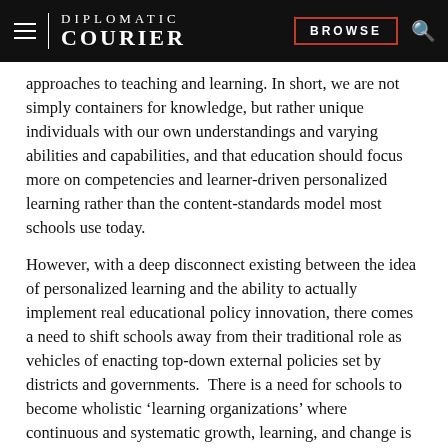DIPLOMATIC COURIER | BROWSE
approaches to teaching and learning. In short, we are not simply containers for knowledge, but rather unique individuals with our own understandings and varying abilities and capabilities, and that education should focus more on competencies and learner-driven personalized learning rather than the content-standards model most schools use today.
However, with a deep disconnect existing between the idea of personalized learning and the ability to actually implement real educational policy innovation, there comes a need to shift schools away from their traditional role as vehicles of enacting top-down external policies set by districts and governments. There is a need for schools to become wholistic ‘learning organizations’ where continuous and systematic growth, learning, and change is encouraged not only in